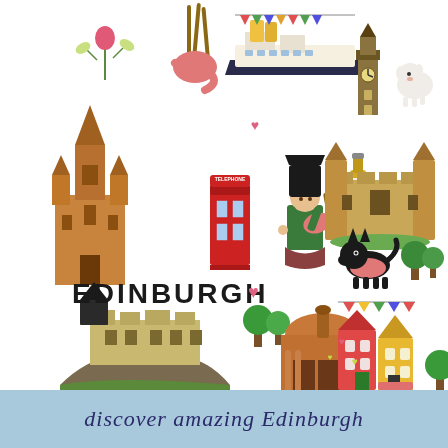[Figure (illustration): Colorful illustrated collage of Edinburgh landmarks and symbols: thistle flower, bagpipes with pink ribbons, ocean liner with bunting, clock tower, white dog, gothic church/cathedral, red telephone box, bagpiper in green tartan, whisky bottle, castle with turrets, black scottie dog in pink coat, trees, Edinburgh Castle on rock, domed building, colorful row houses with bunting, hearts decorations. The word EDINBURGH in bold black uppercase letters is displayed in the lower-left area of the illustration.]
EDINBURGH
discover amazing Edinburgh